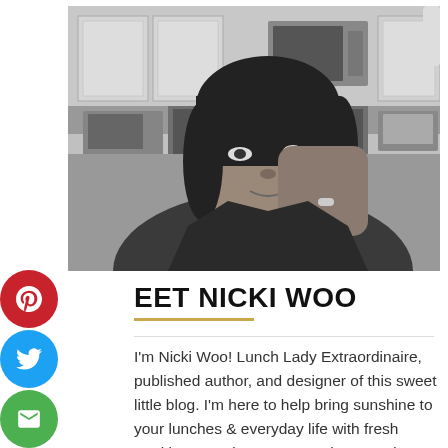[Figure (photo): Black and white photo of a woman (Nicki Woo) leaning her face on her hand, taken in a kitchen setting with white cabinets and stainless steel appliances in the background.]
MEET NICKI WOO
I'm Nicki Woo! Lunch Lady Extraordinaire, published author, and designer of this sweet little blog. I'm here to help bring sunshine to your lunches & everyday life with fresh nutritious good eats, DIY projects, and helpful tips on raising a family in the modern age. Life is a bowl of Jell-O, let's eat it. Read